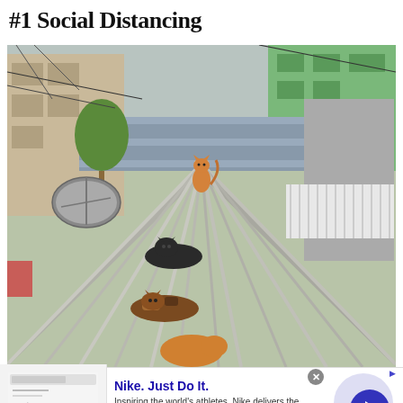#1 Social Distancing
[Figure (photo): Cats sitting on a corrugated metal rooftop with urban buildings in the background. An orange cat sits upright at the top/center of the roof peak, while two other cats (one black, one tortoiseshell) lie lower on the sloped roof, and an orange cat is partially visible at the bottom. A satellite dish is visible on the left side.]
[Figure (screenshot): Advertisement banner for Nike. Just Do It. Shows a small ad image on the left with text 'Are You Registered?', main text 'Nike. Just Do It.' in blue bold, description 'Inspiring the world's athletes, Nike delivers the deals', URL 'www.nike.com' in green, a close button marked X, an AdChoices icon, and a large blue circle arrow button on the right.]